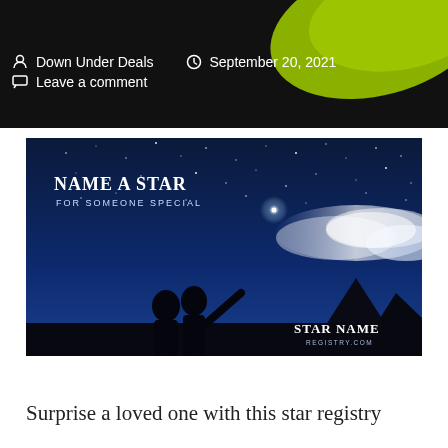Down Under Deals   September 20, 2021
Leave a comment
[Figure (illustration): Advertisement image for Star Name Registry showing two silhouetted people looking up at a starry night sky with the text 'Name a Star For Someone Special' and 'Star Name Registry .com' logo in the corner.]
Surprise a loved one with this star registry